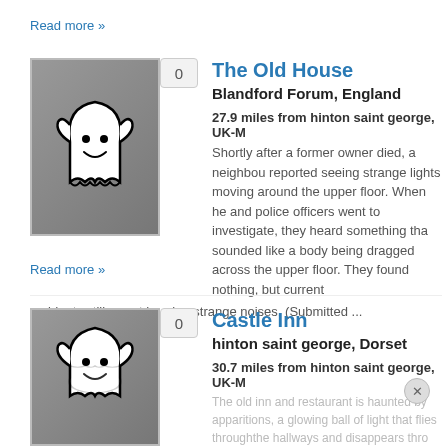Read more »
[Figure (illustration): Ghost illustration on gray background with badge showing 0]
The Old House
Blandford Forum, England
27.9 miles from hinton saint george, UK-M
Shortly after a former owner died, a neighbour reported seeing strange lights moving around the upper floor. When he and police officers went to investigate, they heard something that sounded like a body being dragged across the upper floor. They found nothing, but current residents still report hearing strange noises. (Submitted ...
Read more »
[Figure (illustration): Ghost illustration on gray background with badge showing 0]
Castle Inn
hinton saint george, Dorset
30.7 miles from hinton saint george, UK-M
The old inn and restaurant is haunted by apparitions, a glowing ball of light that flies throughthe hallways and disappears thro